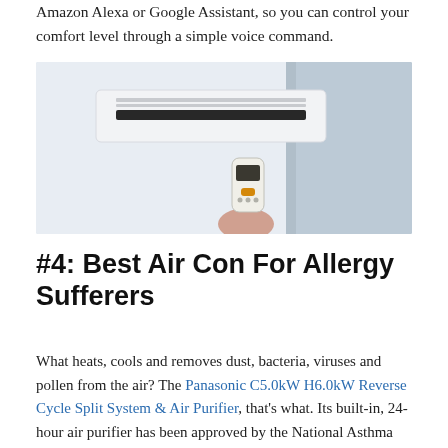Amazon Alexa or Google Assistant, so you can control your comfort level through a simple voice command.
[Figure (photo): Person holding a remote control pointed at a wall-mounted split system air conditioner unit on a white wall.]
#4: Best Air Con For Allergy Sufferers
What heats, cools and removes dust, bacteria, viruses and pollen from the air? The Panasonic C5.0kW H6.0kW Reverse Cycle Split System & Air Purifier, that's what. Its built-in, 24-hour air purifier has been approved by the National Asthma Council of Australia because of its unique